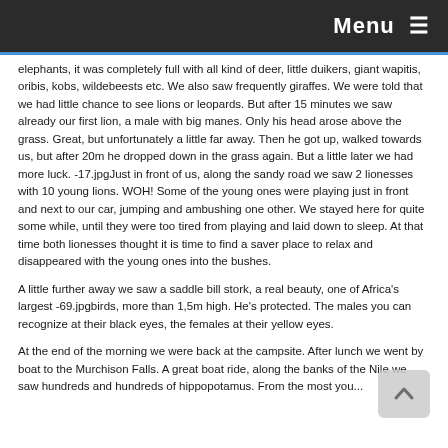Menu ≡
elephants, it was completely full with all kind of deer, little duikers, giant wapitis, oribis, kobs, wildebeests etc. We also saw frequently giraffes. We were told that we had little chance to see lions or leopards. But after 15 minutes we saw already our first lion, a male with big manes. Only his head arose above the grass. Great, but unfortunately a little far away. Then he got up, walked towards us, but after 20m he dropped down in the grass again. But a little later we had more luck. -17.jpgJust in front of us, along the sandy road we saw 2 lionesses with 10 young lions. WOH! Some of the young ones were playing just in front and next to our car, jumping and ambushing one other. We stayed here for quite some while, until they were too tired from playing and laid down to sleep. At that time both lionesses thought it is time to find a saver place to relax and disappeared with the young ones into the bushes.
A little further away we saw a saddle bill stork, a real beauty, one of Africa's largest -69.jpgbirds, more than 1,5m high. He's protected. The males you can recognize at their black eyes, the females at their yellow eyes.
At the end of the morning we were back at the campsite. After lunch we went by boat to the Murchison Falls. A great boat ride, along the banks of the Nile we saw hundreds and hundreds of hippopotamus. From the most you...